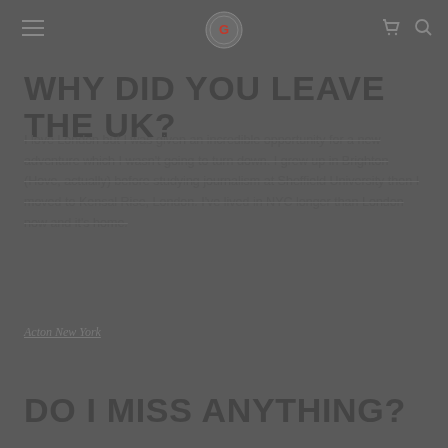[Navigation: hamburger menu, logo icon, cart icon, search icon]
WHY DID YOU LEAVE THE UK?
I love London but I was given an incredible opportunity for a new adventure which I wasn't going to turn down. I grew up in Brighton (Hove, actually) before studying journalism at Sheffield University then I moved to Kensal Rise, London. I've lived in NYC longer than London now and it's home.
Acton New York
DO I MISS ANYTHING?